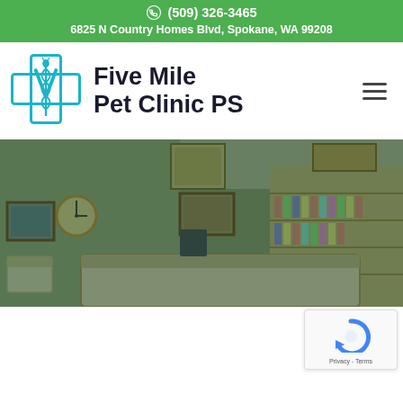(509) 326-3465
6825 N Country Homes Blvd, Spokane, WA 99208
Five Mile Pet Clinic PS
[Figure (photo): Interior photo of veterinary clinic reception area showing a front desk with decorative items, a clock on the wall, framed paintings, shelving with pet products on the right, and chairs in the waiting area. Image has a green dark overlay.]
[Figure (logo): Google reCAPTCHA badge with a blue curved arrow icon and 'Privacy - Terms' text below]